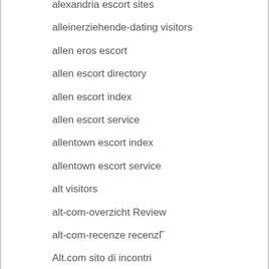alexandria escort sites
alleinerziehende-dating visitors
allen eros escort
allen escort directory
allen escort index
allen escort service
allentown escort index
allentown escort service
alt visitors
alt-com-overzicht Review
alt-com-recenze recenzГ
Alt.com sito di incontri
Alt.com web